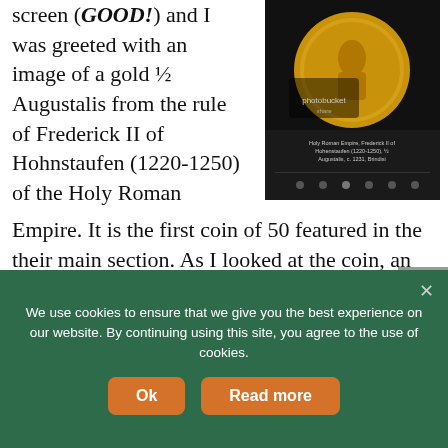screen (GOOD!) and I was greeted with an image of a gold ½ Augustalis from the rule of Frederick II of Hohnstaufen (1220-1250) of the Holy Roman Empire. It is the first coin of 50 featured in the their main section. As I looked at the coin, an animation turned the coin over so I could see the reverse. It was so intriguing that I let the slideshow continue. The I figured that if I
[Figure (screenshot): Screenshot of a coin website showing a gold half Augustalis coin from Frederick II of Hohenstaufen (1220-1250), Holy Roman Empire, with photobucket watermark overlay]
We use cookies to ensure that we give you the best experience on our website. By continuing using this site, you agree to the use of cookies.